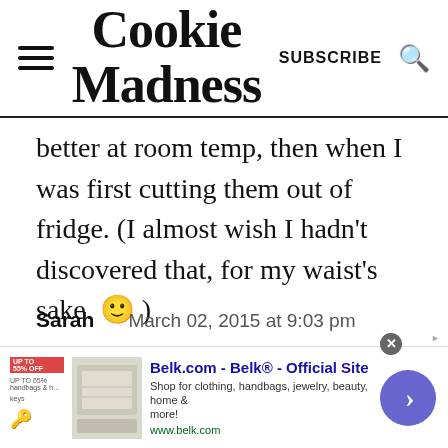Cookie Madness | SUBSCRIBE | [search icon]
better at room temp, then when I was first cutting them out of fridge. (I almost wish I hadn't discovered that, for my waist's sake. 🙂 )
Sarah   March 02, 2015 at 9:03 pm
I wonder if this would be good with
[Figure (screenshot): Belk.com advertisement banner showing clothing/home goods with text: Belk.com - Belk® - Official Site, Shop for clothing, handbags, jewelry, beauty, home & more!, www.belk.com]